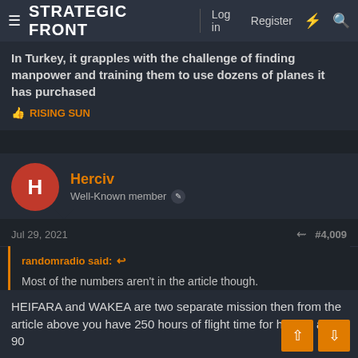STRATEGIC FRONT — Log in  Register
In Turkey, it grapples with the challenge of finding manpower and training them to use dozens of planes it has purchased
👍 RISING SUN
Herciv
Well-Known member
Jul 29, 2021   #4,009
randomradio said: ↩

Most of the numbers aren't in the article though.

Whoever this guy is missed the news about Egypt buying 30 more.
HEIFARA and WAKEA are two separate mission then from the article above you have 250 hours of flight time for heifara and 90